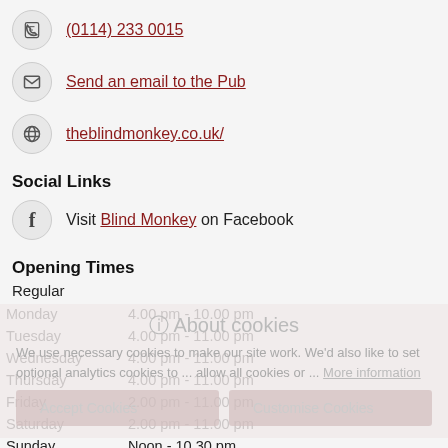(0114) 233 0015
Send an email to the Pub
theblindmonkey.co.uk/
Social Links
Visit Blind Monkey on Facebook
Opening Times
Regular
| Day | Hours |
| --- | --- |
| Monday | 4.00 pm - 10.00 pm |
| Tuesday | 4.00 pm - 11.00 pm |
| Wednesday | 4.00 pm - 11.00 pm |
| Thursday | 4.00 pm - 11.00 pm |
| Friday | 2.00 pm - 11.00 pm |
| Saturday | 2.00 pm - 11.00 pm |
| Sunday | Noon - 10.30 pm |
About cookies
We use necessary cookies to make our site work. We'd also like to set optional analytics cookies to ... allow all cookies or ... More information